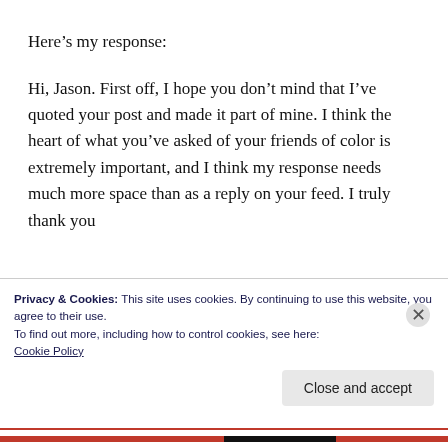Here’s my response:
Hi, Jason. First off, I hope you don’t mind that I’ve quoted your post and made it part of mine. I think the heart of what you’ve asked of your friends of color is extremely important, and I think my response needs much more space than as a reply on your feed. I truly thank you
Privacy & Cookies: This site uses cookies. By continuing to use this website, you agree to their use.
To find out more, including how to control cookies, see here:
Cookie Policy
Close and accept